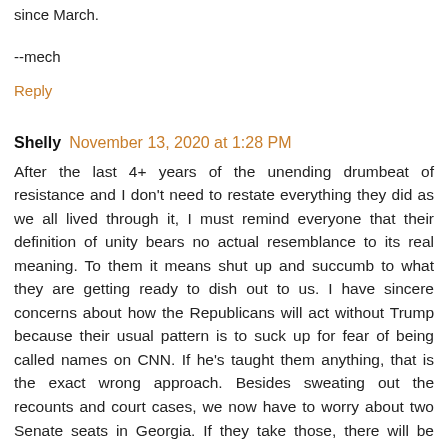since March.
--mech
Reply
Shelly  November 13, 2020 at 1:28 PM
After the last 4+ years of the unending drumbeat of resistance and I don't need to restate everything they did as we all lived through it, I must remind everyone that their definition of unity bears no actual resemblance to its real meaning. To them it means shut up and succumb to what they are getting ready to dish out to us. I have sincere concerns about how the Republicans will act without Trump because their usual pattern is to suck up for fear of being called names on CNN. If he's taught them anything, that is the exact wrong approach. Besides sweating out the recounts and court cases, we now have to worry about two Senate seats in Georgia. If they take those, there will be nothing to stand in their way of total destruction of our country. I hate to be so grim but this is the most serious threat our country has ever faced.